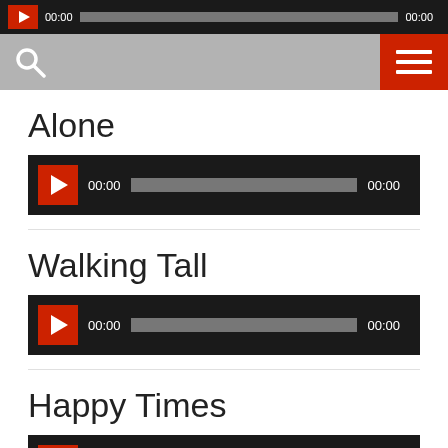[Figure (screenshot): Top audio player bar with play button, 00:00 timestamp, progress bar, and 00:00 end time on dark background. Search icon and red hamburger menu button on gray header bar.]
Alone
[Figure (screenshot): Audio player for 'Alone' track with red play button, 00:00 start time, gray progress bar, and 00:00 end time on dark background.]
Walking Tall
[Figure (screenshot): Audio player for 'Walking Tall' track with red play button, 00:00 start time, gray progress bar, and 00:00 end time on dark background.]
Happy Times
[Figure (screenshot): Audio player for 'Happy Times' track with red play button, 00:00 start time, gray progress bar, and 00:00 end time on dark background.]